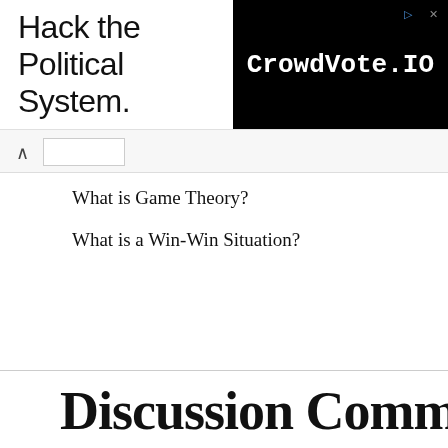[Figure (screenshot): Advertisement banner: 'Hack the Political System.' text on left, CrowdVote.IO logo on black background on right, with play and close icons]
What is Game Theory?
What is a Win-Win Situation?
Discussion Comments